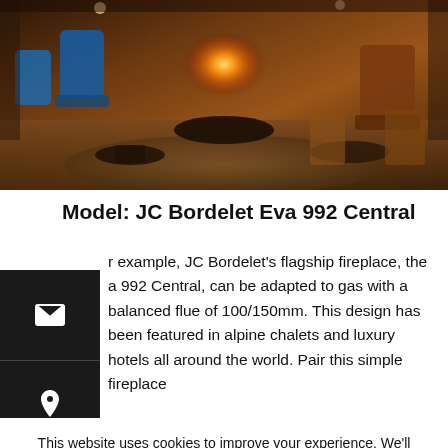[Figure (photo): Interior photo of a luxury lounge/restaurant with a central fireplace glowing warmly, blue and brown chairs, round dark tables, in a warm amber-lit setting.]
Model: JC Bordelet Eva 992 Central
For example, JC Bordelet's flagship fireplace, the Eva 992 Central, can be adapted to gas with a balanced flue of 100/150mm. This design has been featured in alpine chalets and luxury hotels all around the world. Pair this simple fireplace
This website uses cookies to improve your experience. We'll assume you're ok with this, but you can opt-out if you wish.
Accept  Reject  Read more about our cookies policy